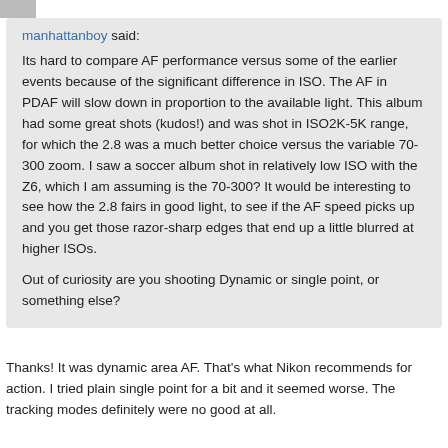[Figure (photo): Small avatar/profile image strip at top left]
manhattanboy said:

Its hard to compare AF performance versus some of the earlier events because of the significant difference in ISO. The AF in PDAF will slow down in proportion to the available light. This album had some great shots (kudos!) and was shot in ISO2K-5K range, for which the 2.8 was a much better choice versus the variable 70-300 zoom. I saw a soccer album shot in relatively low ISO with the Z6, which I am assuming is the 70-300? It would be interesting to see how the 2.8 fairs in good light, to see if the AF speed picks up and you get those razor-sharp edges that end up a little blurred at higher ISOs.

Out of curiosity are you shooting Dynamic or single point, or something else?
Thanks! It was dynamic area AF. That's what Nikon recommends for action. I tried plain single point for a bit and it seemed worse. The tracking modes definitely were no good at all.